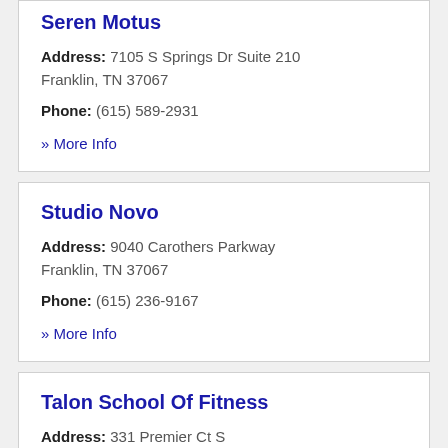Seren Motus
Address: 7105 S Springs Dr Suite 210 Franklin, TN 37067
Phone: (615) 589-2931
» More Info
Studio Novo
Address: 9040 Carothers Parkway Franklin, TN 37067
Phone: (615) 236-9167
» More Info
Talon School Of Fitness
Address: 331 Premier Ct S